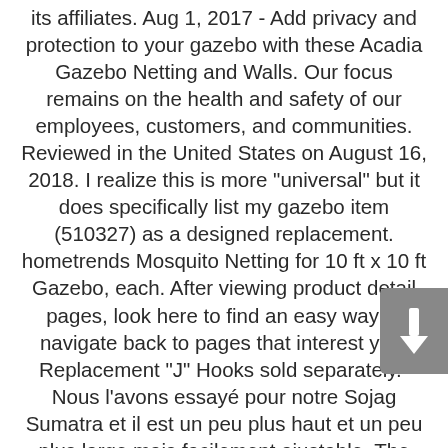its affiliates. Aug 1, 2017 - Add privacy and protection to your gazebo with these Acadia Gazebo Netting and Walls. Our focus remains on the health and safety of our employees, customers, and communities. Reviewed in the United States on August 16, 2018. I realize this is more "universal" but it does specifically list my gazebo item (510327) as a designed replacement. hometrends Mosquito Netting for 10 ft x 10 ft Gazebo, each. After viewing product detail pages, look here to find an easy way to navigate back to pages that interest you. Replacement "J" Hooks sold separately." Nous l'avons essayé pour notre Sojag Sumatra et il est un peu plus haut et un peu plus large mais facilement ajustable. The replacement Insect Net is not universal, please make sure you have the correct model. Therefore the top corners sag as there is nothing to support them and the bottoms will billow up if there is any kind of wind. The netting is perfect!! Shipped from Canada, made in China. Fit